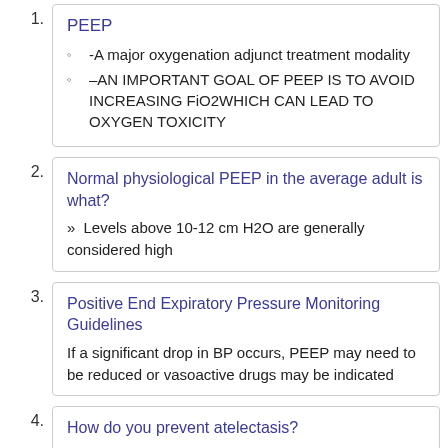PEEP
-A major oxygenation adjunct treatment modality
–AN IMPORTANT GOAL OF PEEP IS TO AVOID INCREASING FiO2WHICH CAN LEAD TO OXYGEN TOXICITY
Normal physiological PEEP in the average adult is what?
» Levels above 10-12 cm H2O are generally considered high
Positive End Expiratory Pressure Monitoring Guidelines
If a significant drop in BP occurs, PEEP may need to be reduced or vasoactive drugs may be indicated
How do you prevent atelectasis?
Ensuring adequate Tidal Volumes